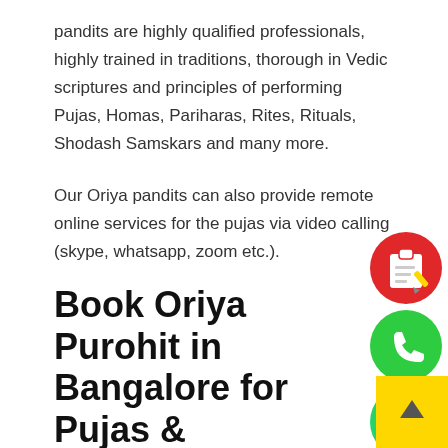pandits are highly qualified professionals, highly trained in traditions, thorough in Vedic scriptures and principles of performing Pujas, Homas, Pariharas, Rites, Rituals, Shodash Samskars and many more.
Our Oriya pandits can also provide remote online services for the pujas via video calling (skype, whatsapp, zoom etc.).
Book Oriya Purohit in Bangalore for Pujas & Havans
PurePrayer offer the best of Vedic and experienced Oriya Purohit in Bangalore. They are highly trained in Utkala tradition and Puja-Havan procedure.
Book excellent Vedic Odia Pandits for Gruha Pratistha, Ba... Shanti (Vastu Santi), Tulasi Pratishtha, Bratopanayan
[Figure (illustration): Red circular booking/checklist icon]
[Figure (illustration): Green circular phone call icon]
[Figure (illustration): Green circular WhatsApp icon]
[Figure (illustration): Yellow scroll-to-top button with upward arrow]